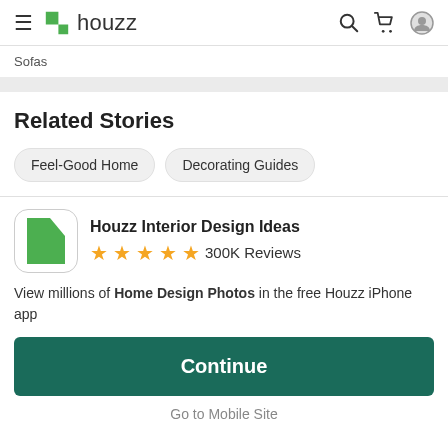houzz
Sofas
Related Stories
Feel-Good Home
Decorating Guides
Houzz Interior Design Ideas ★★★★★ 300K Reviews
View millions of Home Design Photos in the free Houzz iPhone app
Continue
Go to Mobile Site